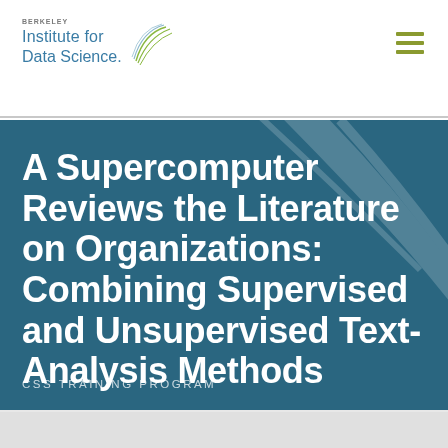[Figure (logo): Berkeley Institute for Data Science logo with arc/feather mark in teal and olive green]
[Figure (other): Hamburger menu icon (three horizontal olive-green lines)]
A Supercomputer Reviews the Literature on Organizations: Combining Supervised and Unsupervised Text-Analysis Methods
CSS TRAINING PROGRAM
[Figure (photo): Partial bottom image strip showing dark background with green circle element]